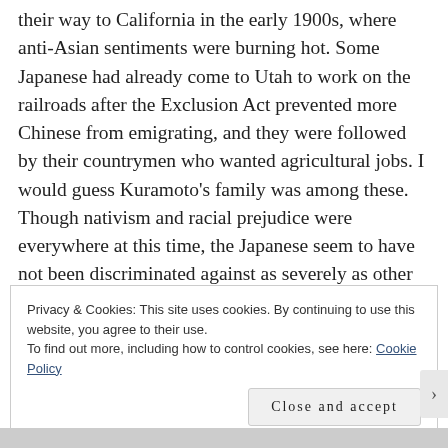their way to California in the early 1900s, where anti-Asian sentiments were burning hot. Some Japanese had already come to Utah to work on the railroads after the Exclusion Act prevented more Chinese from emigrating, and they were followed by their countrymen who wanted agricultural jobs. I would guess Kuramoto's family was among these. Though nativism and racial prejudice were everywhere at this time, the Japanese seem to have not been discriminated against as severely as other groups in Utah, such as the Greeks.
Privacy & Cookies: This site uses cookies. By continuing to use this website, you agree to their use.
To find out more, including how to control cookies, see here: Cookie Policy
Close and accept